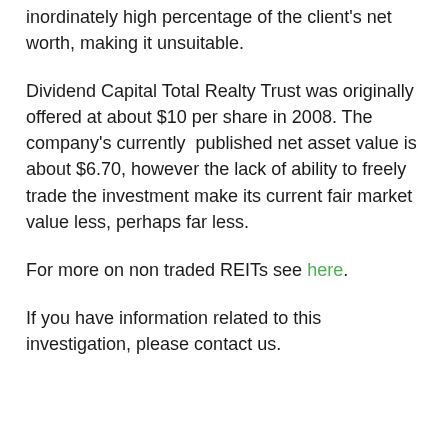inordinately high percentage of the client's net worth, making it unsuitable.
Dividend Capital Total Realty Trust was originally offered at about $10 per share in 2008. The company's currently published net asset value is about $6.70, however the lack of ability to freely trade the investment make its current fair market value less, perhaps far less.
For more on non traded REITs see here.
If you have information related to this investigation, please contact us.